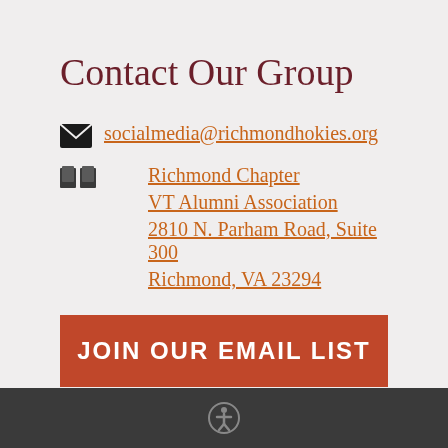Contact Our Group
socialmedia@richmondhokies.org
Richmond Chapter
VT Alumni Association
2810 N. Parham Road, Suite 300
Richmond, VA 23294
JOIN OUR EMAIL LIST
JOIN OUR MEETUP